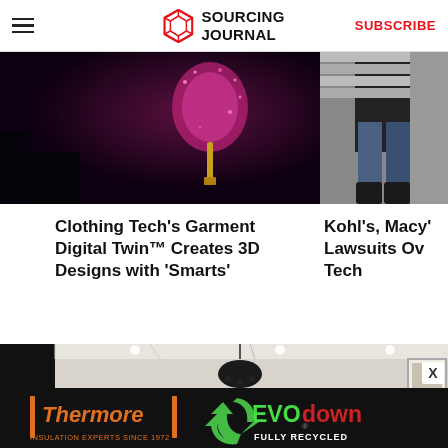Sourcing Journal — SUBSCRIBE
[Figure (photo): Dark purple/maroon background with a glittery/sparkly fashion item, partially visible on the right side]
[Figure (photo): Person wearing jeans and boots, cropped, dark clothing store background]
Clothing Tech's Garment Digital Twin™ Creates 3D Designs with 'Smarts'
Kohl's, Macy' Lawsuits Ov Tech
[Figure (photo): Interior of a clothing boutique with mannequins wearing fashion items, chandelier, clothes racks, framed artwork on the wall]
[Figure (photo): Thermore EVO down advertisement banner — Insulation Experts Since 1972 — Fully Recycled]